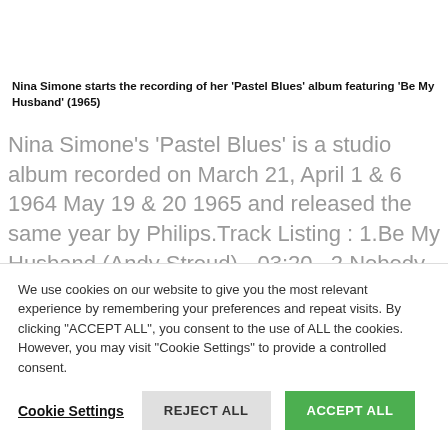Nina Simone starts the recording of her 'Pastel Blues' album featuring 'Be My Husband' (1965)
Nina Simone's 'Pastel Blues' is a studio album recorded on March 21, April 1 & 6 1964 May 19 & 20 1965 and released the same year by Philips.Track Listing : 1.Be My Husband (Andy Stroud) - 03:20 . 2.Nobody Knows You When You'Re Down And Out (Jimmie Cox) - 02:38 . 3.End Of The Line (John Edmondson, Cynthia Medley) - 02:54 .
We use cookies on our website to give you the most relevant experience by remembering your preferences and repeat visits. By clicking "ACCEPT ALL", you consent to the use of ALL the cookies. However, you may visit "Cookie Settings" to provide a controlled consent.